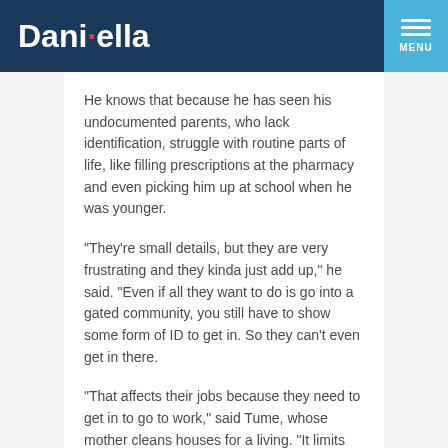Danielella — MENU
He knows that because he has seen his undocumented parents, who lack identification, struggle with routine parts of life, like filling prescriptions at the pharmacy and even picking him up at school when he was younger.
"They're small details, but they are very frustrating and they kinda just add up," he said. "Even if all they want to do is go into a gated community, you still have to show some form of ID to get in. So they can't even get in there.
"That affects their jobs because they need to get in to go to work," said Tume, whose mother cleans houses for a living. "It limits them."